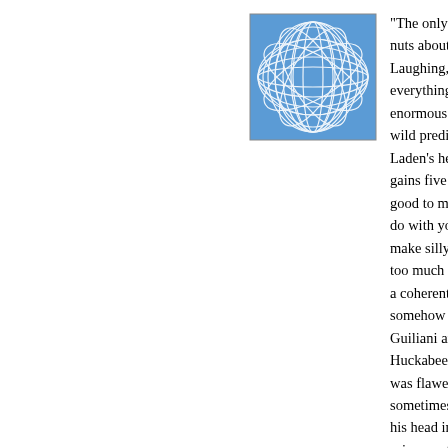[Figure (logo): Blue square logo with white overlapping oval/leaf line art pattern forming a globe-like design]
"The only reason McBush is y nuts about the Mormon and o Laughing, you're sure off the everything. Your predictions, enormous congressional loss wild prediction too - Bush del Laden's head on a plate the v gains five seats in the House good to me when I say that s do with yours. Romney wasn make silly things up. Romney too much and feinted left and a coherent set of beliefs. He somehow a poor vote-getter Guiliani and Thompson were Huckabee ran a good campa was flawed. Huckabee was m sometimes he invoked the fe his head in Arizona three day primary . So McCain was the pretty good shot that more Ar decades of experience who c